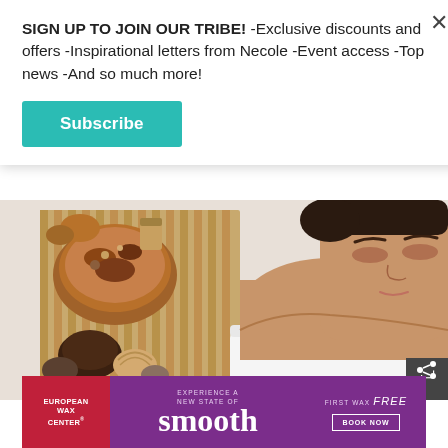SIGN UP TO JOIN OUR TRIBE! -Exclusive discounts and offers -Inspirational letters from Necole -Event access -Top news -And so much more!
Subscribe
[Figure (photo): A woman lying on a spa table wrapped in a white towel, eyes closed, relaxed expression. To her left, a bamboo mat with a wooden bowl of spa ingredients including dried botanicals, shells, and natural items.]
Shutterstock
[Figure (infographic): European Wax Center advertisement banner with purple background. Left red section: European Wax Center logo. Middle: 'Experience a new state of smooth' text with large 'smooth' display font. Right: 'First Wax free' with 'Book Now' button.]